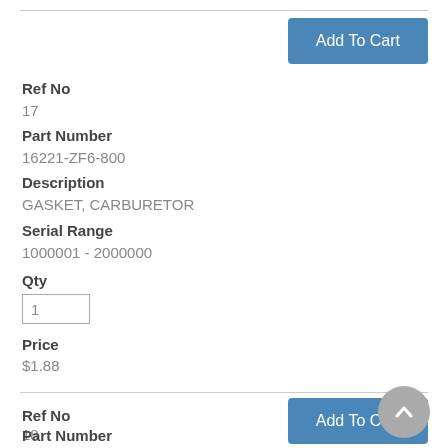[Figure (other): Add To Cart button (blue) in top-right area]
Ref No
17
Part Number
16221-ZF6-800
Description
GASKET, CARBURETOR
Serial Range
1000001 - 2000000
Qty
1
Price
$1.88
[Figure (other): Add To Cart button (blue) in middle-right area]
Ref No
18
Part Number